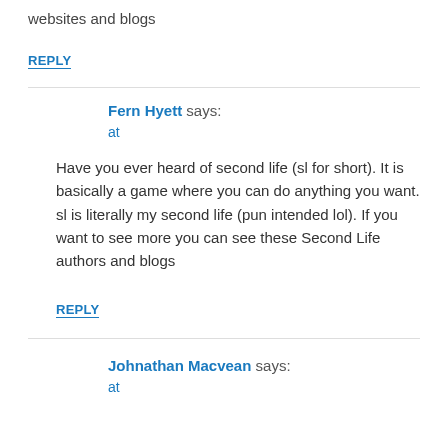websites and blogs
REPLY
Fern Hyett says:
at
Have you ever heard of second life (sl for short). It is basically a game where you can do anything you want. sl is literally my second life (pun intended lol). If you want to see more you can see these Second Life authors and blogs
REPLY
Johnathan Macvean says:
at